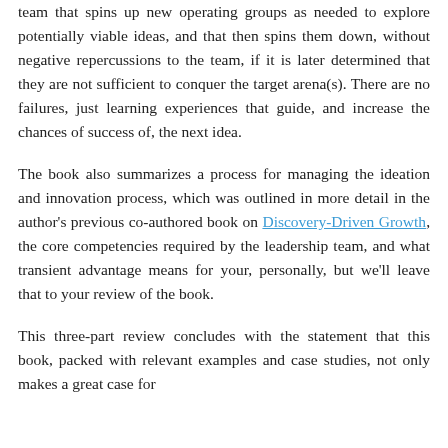team that spins up new operating groups as needed to explore potentially viable ideas, and that then spins them down, without negative repercussions to the team, if it is later determined that they are not sufficient to conquer the target arena(s). There are no failures, just learning experiences that guide, and increase the chances of success of, the next idea.
The book also summarizes a process for managing the ideation and innovation process, which was outlined in more detail in the author's previous co-authored book on Discovery-Driven Growth, the core competencies required by the leadership team, and what transient advantage means for your, personally, but we'll leave that to your review of the book.
This three-part review concludes with the statement that this book, packed with relevant examples and case studies, not only makes a great case for